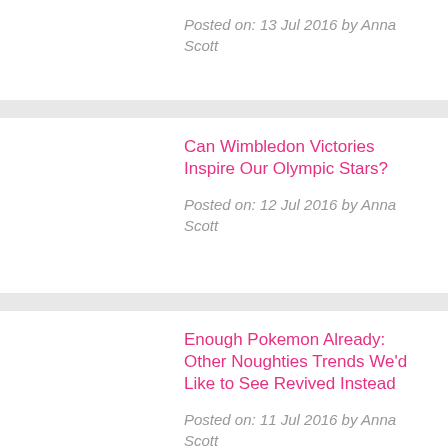Posted on: 13 Jul 2016 by Anna Scott
Can Wimbledon Victories Inspire Our Olympic Stars?
Posted on: 12 Jul 2016 by Anna Scott
Enough Pokemon Already: Other Noughties Trends We'd Like to See Revived Instead
Posted on: 11 Jul 2016 by Anna Scott